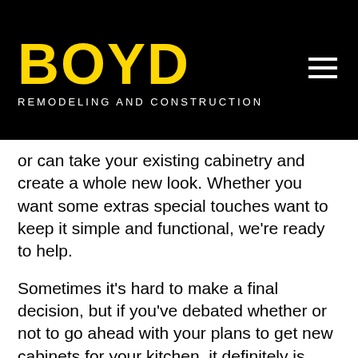[Figure (logo): Boyd Remodeling and Construction logo — bold yellow BOYD text on black background with tagline REMODELING AND CONSTRUCTION in white]
or can take your existing cabinetry and create a whole new look. Whether you want some extras special touches want to keep it simple and functional, we're ready to help.
Sometimes it's hard to make a final decision, but if you've debated whether or not to go ahead with your plans to get new cabinets for your kitchen, it definitely is past time to call your local professionals here at Boyd Remodeling & Construction.
Our Boise remodeling contractors wants your kitchen to look great! Let us help you change it to suite your needs so you can enjoy your new kitchen cabinets for years to come! Whether you want to only replace the